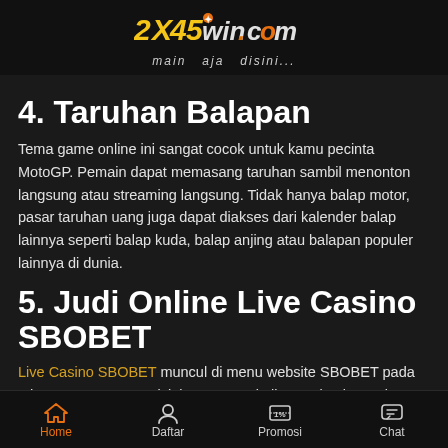2X45win.com — main aja disini...
4. Taruhan Balapan
Tema game online ini sangat cocok untuk kamu pecinta MotoGP. Pemain dapat memasang taruhan sambil menonton langsung atau streaming langsung. Tidak hanya balap motor, pasar taruhan uang juga dapat diakses dari kalender balap lainnya seperti balap kuda, balap anjing atau balapan populer lainnya di dunia.
5. Judi Online Live Casino SBOBET
Live Casino SBOBET muncul di menu website SBOBET pada tahun 2008 Sweep. Disini para pemain live casino benar-benar diajak untuk menikmati suasana seperti sedang bermain di Marina Bay Sands dan Resort World Sentosa (Singapura), De Emergency
Home   Daftar   Promosi   Chat